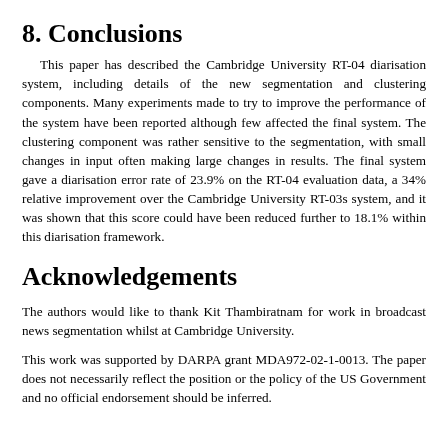8. Conclusions
This paper has described the Cambridge University RT-04 diarisation system, including details of the new segmentation and clustering components. Many experiments made to try to improve the performance of the system have been reported although few affected the final system. The clustering component was rather sensitive to the segmentation, with small changes in input often making large changes in results. The final system gave a diarisation error rate of 23.9% on the RT-04 evaluation data, a 34% relative improvement over the Cambridge University RT-03s system, and it was shown that this score could have been reduced further to 18.1% within this diarisation framework.
Acknowledgements
The authors would like to thank Kit Thambiratnam for work in broadcast news segmentation whilst at Cambridge University.
This work was supported by DARPA grant MDA972-02-1-0013. The paper does not necessarily reflect the position or the policy of the US Government and no official endorsement should be inferred.